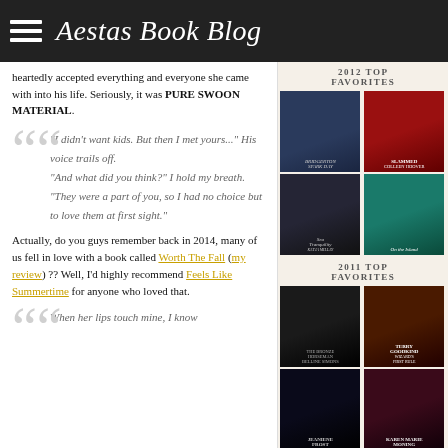Aestas Book Blog
heartedly accepted everything and everyone she came with into his life. Seriously, it was PURE SWOON MATERIAL.
"I didn't want kids. But then I met yours..." His voice trails off. "And what did you think?" I hold my breath. "They were a part of you, so I had no choice but to love them at first sight."
Actually, do you guys remember back in 2014, many of us fell in love with a book called Worth The Fall (my review) ?? Well, I'd highly recommend Feels Like Summertime for anyone who loved that.
When her lips touch mine, I know
[Figure (illustration): Sidebar showing 2012 Top Favorites book covers: Bridgertion/Spark Day, Slammed by Colleen Hoover, Sea of Tranquility by Katja Millay, On the Island]
2012 TOP FAVORITES
2011 TOP FAVORITES
[Figure (illustration): Sidebar showing 2011 Top Favorites book covers: The Bronze Horseman, Wizard's First Rule by Terry Goodkind, Jeaniene Frost, Karen Marie Moning]